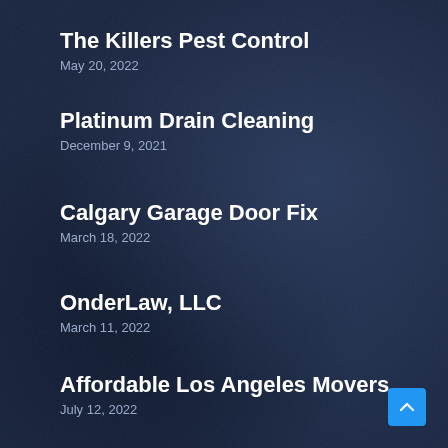The Killers Pest Control
May 20, 2022
Platinum Drain Cleaning
December 9, 2021
Calgary Garage Door Fix
March 18, 2022
OnderLaw, LLC
March 11, 2022
Affordable Los Angeles Movers
July 12, 2022